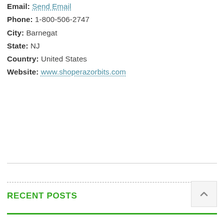Email: Send Email
Phone: 1-800-506-2747
City: Barnegat
State: NJ
Country: United States
Website: www.shoperazorbits.com
RECENT POSTS